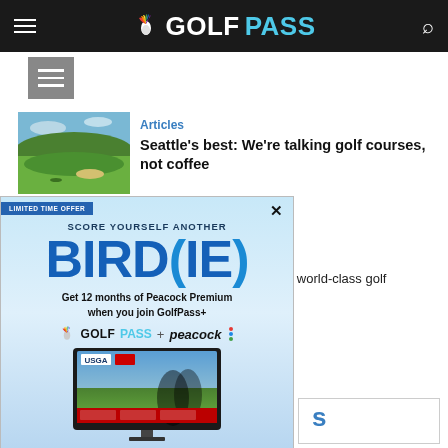GOLFPASS — NBC Sports navigation header
[Figure (screenshot): Gray placeholder thumbnail with horizontal lines icon]
[Figure (photo): Golf course aerial photo showing green fairways and landscape]
Articles
Seattle's best: We're talking golf courses, not coffee
a world-class golf
[Figure (screenshot): GolfPass advertisement overlay: LIMITED TIME OFFER. SCORE YOURSELF ANOTHER BIRD(IE). Get 12 months of Peacock Premium when you join GolfPass+. GOLFPASS + peacock. Shows USGA TV screen with golfers. JOIN NOW button. $4.99/mo vs us. Eligibility restrictions and terms apply.]
s